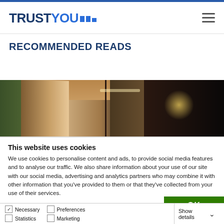TRUSTYOU
RECOMMENDED READS
[Figure (photo): Interior corridor/hallway of a hotel with warm wooden tones and ambient lighting]
This website uses cookies
We use cookies to personalise content and ads, to provide social media features and to analyse our traffic. We also share information about your use of our site with our social media, advertising and analytics partners who may combine it with other information that you've provided to them or that they've collected from your use of their services.
OK
Necessary  Preferences  Statistics  Marketing  Show details